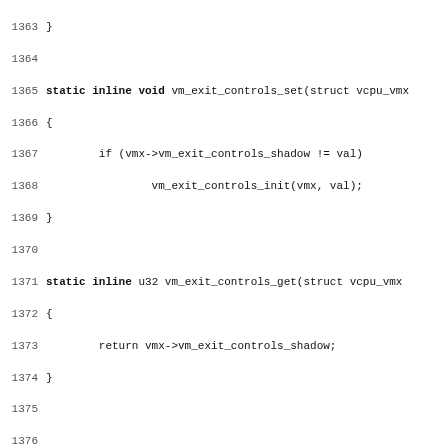Source code listing, lines 1363-1395, C kernel code for VM exit controls and segment cache functions.